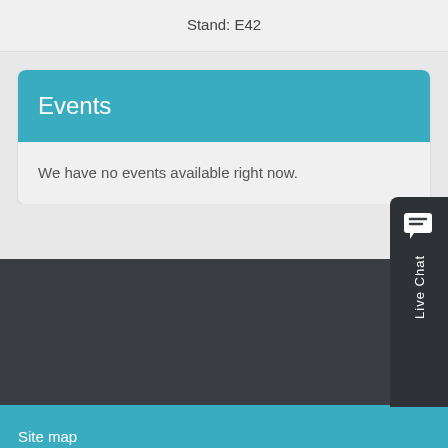Stand: E42
Events
We have no events available right now.
[Figure (other): Live Chat widget button on the right side with chat bubble icon and 'Live Chat' text rotated vertically]
Site map